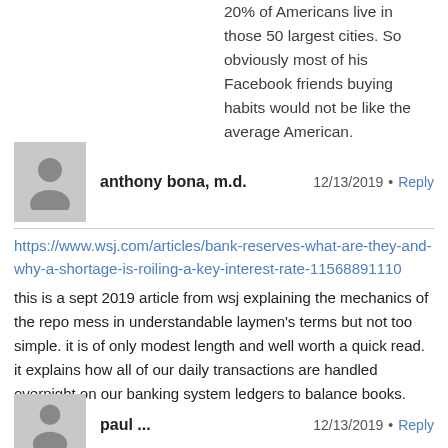20% of Americans live in those 50 largest cities. So obviously most of his Facebook friends buying habits would not be like the average American.
anthony bona, m.d.   12/13/2019 • Reply
https://www.wsj.com/articles/bank-reserves-what-are-they-and-why-a-shortage-is-roiling-a-key-interest-rate-11568891110
this is a sept 2019 article from wsj explaining the mechanics of the repo mess in understandable laymen's terms but not too simple. it is of only modest length and well worth a quick read. it explains how all of our daily transactions are handled overnight on our banking system ledgers to balance books.
paul ...   12/13/2019 • Reply
Giuliani flew back to the US from his fact finding